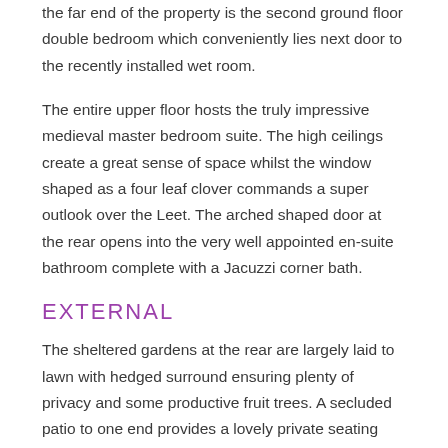the far end of the property is the second ground floor double bedroom which conveniently lies next door to the recently installed wet room.
The entire upper floor hosts the truly impressive medieval master bedroom suite. The high ceilings create a great sense of space whilst the window shaped as a four leaf clover commands a super outlook over the Leet. The arched shaped door at the rear opens into the very well appointed en-suite bathroom complete with a Jacuzzi corner bath.
EXTERNAL
The sheltered gardens at the rear are largely laid to lawn with hedged surround ensuring plenty of privacy and some productive fruit trees. A secluded patio to one end provides a lovely private seating area with summer sun and into the evening. Further along some of the content continues...